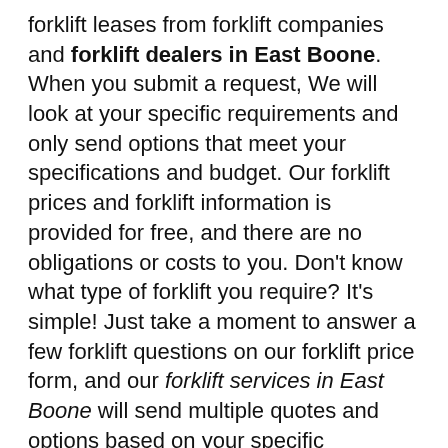forklift leases from forklift companies and forklift dealers in East Boone. When you submit a request, We will look at your specific requirements and only send options that meet your specifications and budget. Our forklift prices and forklift information is provided for free, and there are no obligations or costs to you. Don't know what type of forklift you require? It's simple! Just take a moment to answer a few forklift questions on our forklift price form, and our forklift services in East Boone will send multiple quotes and options based on your specific requirements. KC-Forklift.com is pleased to list the types of forklift services our partners offer, and forklift services available in East Boone. Please submit your forklift request today. We look forward to earning your business and saving you money!